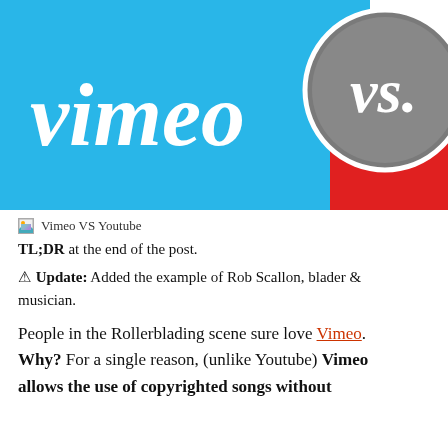[Figure (illustration): Vimeo VS Youtube logo graphic. Left portion has blue background with 'vimeo' in white cursive script. Right side has a gray circle with 'vs.' in white cursive text, overlapping a red background section in the lower right.]
Vimeo VS Youtube
TL;DR at the end of the post.
⚠ Update: Added the example of Rob Scallon, blader & musician.
People in the Rollerblading scene sure love Vimeo. Why? For a single reason, (unlike Youtube) Vimeo allows the use of copyrighted songs without